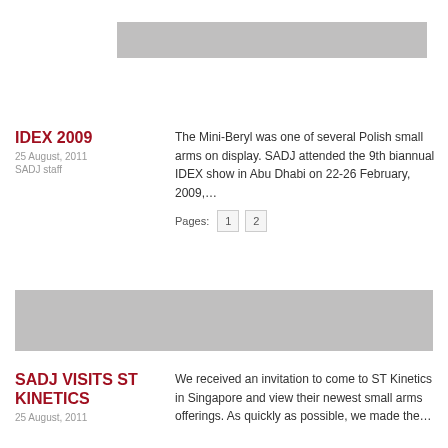[Figure (photo): Gray image placeholder at top of page]
IDEX 2009
25 August, 2011
SADJ staff
The Mini-Beryl was one of several Polish small arms on display. SADJ attended the 9th biannual IDEX show in Abu Dhabi on 22-26 February, 2009,…
Pages: 1 2
[Figure (photo): Gray image placeholder in middle of page]
SADJ VISITS ST KINETICS
25 August, 2011
We received an invitation to come to ST Kinetics in Singapore and view their newest small arms offerings. As quickly as possible, we made the…